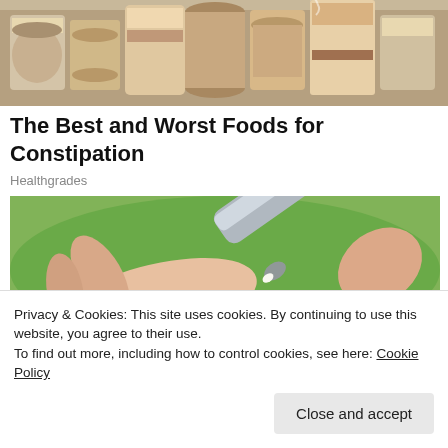[Figure (photo): Photo of canned and packaged foods on shelves, viewed from below/angle]
The Best and Worst Foods for Constipation
Healthgrades
[Figure (photo): Close-up photo of a hand holding a silver tube/container against a green background]
Privacy & Cookies: This site uses cookies. By continuing to use this website, you agree to their use.
To find out more, including how to control cookies, see here: Cookie Policy
Close and accept